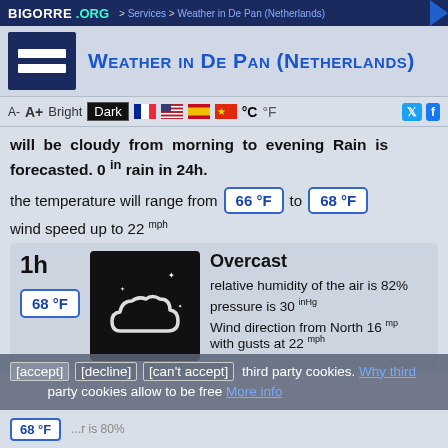BIGORRE .ORG > Services > Weather in De Pan (Netherlands)
Weather in De Pan (Netherlands)
will be cloudy from morning to evening Rain is forecasted. 0 in rain in 24h.
the temperature will range from 66 °F to 68 °F
wind speed up to 22 mph
1h
68 °F
[Figure (illustration): Overcast cloud icon on black background]
Overcast
relative humidity of the air is 82%
pressure is 30 inHg
Wind direction from North 16 mph with gusts at 22 mph
[accept] [decline] [can't accept] third party cookies. Why third party cookies allow to be free More info